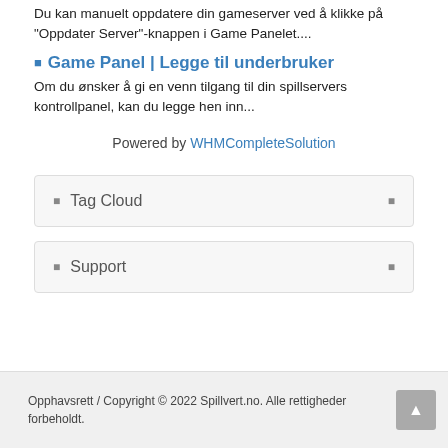Du kan manuelt oppdatere din gameserver ved å klikke på "Oppdater Server"-knappen i Game Panelet....
Game Panel | Legge til underbruker
Om du ønsker å gi en venn tilgang til din spillservers kontrollpanel, kan du legge hen inn...
Powered by WHMCompleteSolution
Tag Cloud
Support
Opphavsrett / Copyright © 2022 Spillvert.no. Alle rettigheder forbeholdt.